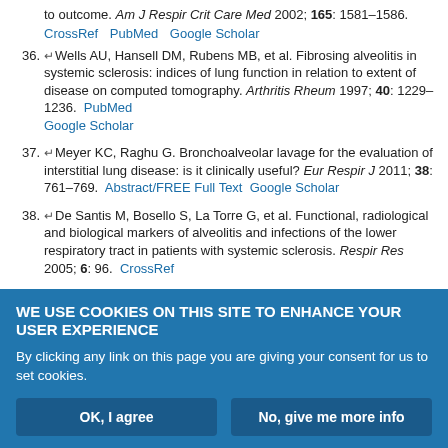to outcome. Am J Respir Crit Care Med 2002; 165: 1581–1586.
CrossRef  PubMed  Google Scholar
36. ↵Wells AU, Hansell DM, Rubens MB, et al. Fibrosing alveolitis in systemic sclerosis: indices of lung function in relation to extent of disease on computed tomography. Arthritis Rheum 1997; 40: 1229–1236.  PubMed  Google Scholar
37. ↵Meyer KC, Raghu G. Bronchoalveolar lavage for the evaluation of interstitial lung disease: is it clinically useful? Eur Respir J 2011; 38: 761–769.  Abstract/FREE Full Text  Google Scholar
38. ↵De Santis M, Bosello S, La Torre G, et al. Functional, radiological and biological markers of alveolitis and infections of the lower respiratory tract in patients with systemic sclerosis. Respir Res 2005; 6: 96.  CrossRef
WE USE COOKIES ON THIS SITE TO ENHANCE YOUR USER EXPERIENCE
By clicking any link on this page you are giving your consent for us to set cookies.
OK, I agree   No, give me more info